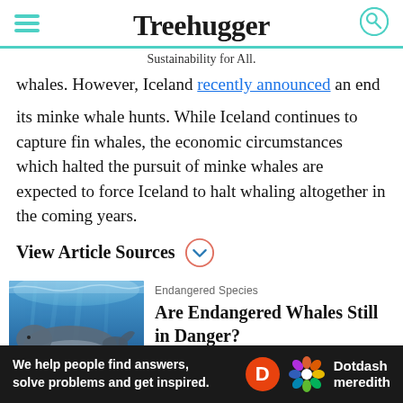Treehugger — Sustainability for All.
whales. However, Iceland recently announced an end to its minke whale hunts. While Iceland continues to capture fin whales, the economic circumstances which halted the pursuit of minke whales are expected to force Iceland to halt whaling altogether in the coming years.
View Article Sources
[Figure (photo): Underwater photo of a humpback whale swimming near the surface]
Endangered Species — Are Endangered Whales Still in Danger?
[Figure (infographic): Advertisement banner: We help people find answers, solve problems and get inspired. Dotdash meredith]